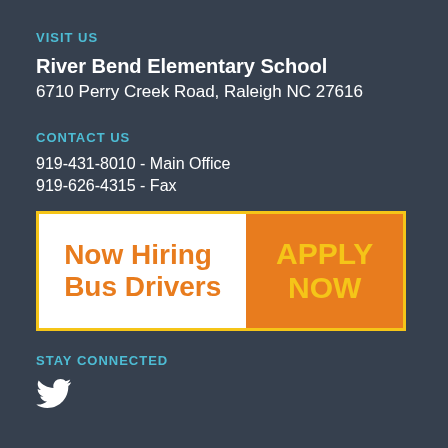VISIT US
River Bend Elementary School
6710 Perry Creek Road, Raleigh NC 27616
CONTACT US
919-431-8010 - Main Office
919-626-4315 - Fax
[Figure (infographic): Now Hiring Bus Drivers - APPLY NOW banner with yellow border, white left panel with orange text and orange right panel with yellow text]
STAY CONNECTED
[Figure (logo): Twitter bird icon in white]